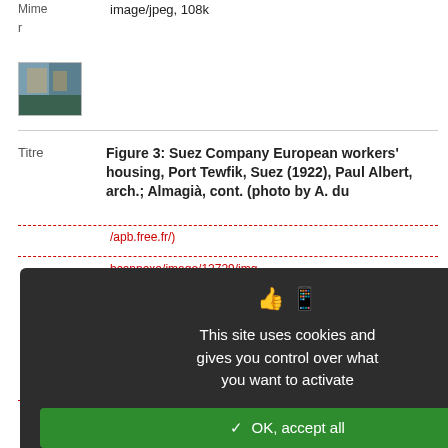image/jpeg, 108k
[Figure (photo): Small thumbnail image of a building/waterfront scene]
Titre  Figure 3: Suez Company European workers’ housing, Port Tewfik, Suez (1922), Paul Albert, arch.; Almagià, cont. (photo by A. du
/apb.free.fr/)
bcannexe/image/12729/img-
[Figure (screenshot): Cookie consent modal overlay with dark background: text 'This site uses cookies and gives you control over what you want to activate', green OK button, red Deny button, white Personalize button, Privacy policy link]
s, Port Tewfik, Suez (1930), Paul nt. (photo by A. du Boistesselin)
/apb.free.fr/)